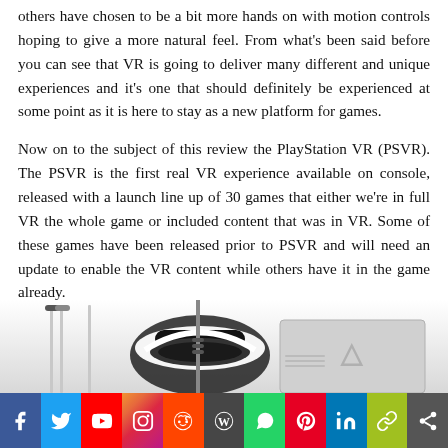others have chosen to be a bit more hands on with motion controls hoping to give a more natural feel. From what's been said before you can see that VR is going to deliver many different and unique experiences and it's one that should definitely be experienced at some point as it is here to stay as a new platform for games.
Now on to the subject of this review the PlayStation VR (PSVR). The PSVR is the first real VR experience available on console, released with a launch line up of 30 games that either we're in full VR the whole game or included content that was in VR. Some of these games have been released prior to PSVR and will need an update to enable the VR content while others have it in the game already.
[Figure (photo): PlayStation VR headset and accessories including earbuds, cables, and PlayStation 4 console processor unit, displayed on white background]
[Figure (infographic): Social media share bar with icons for Facebook (blue), Twitter (light blue), YouTube (red), Instagram (purple/orange gradient), Reddit (orange-red), WordPress (dark grey), WhatsApp (green), Pinterest (red), LinkedIn (blue), chain/link (yellow-green), and more/share (dark grey)]